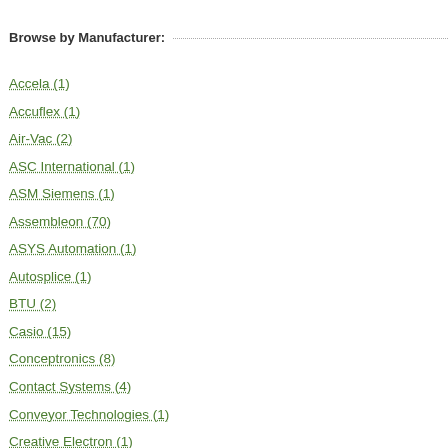Browse by Manufacturer:
Accela (1)
Accuflex (1)
Air-Vac (2)
ASC International (1)
ASM Siemens (1)
Assembleon (70)
ASYS Automation (1)
Autosplice (1)
BTU (2)
Casio (15)
Conceptronics (8)
Contact Systems (4)
Conveyor Technologies (1)
Creative Electron (1)
Cyberoptics (6)